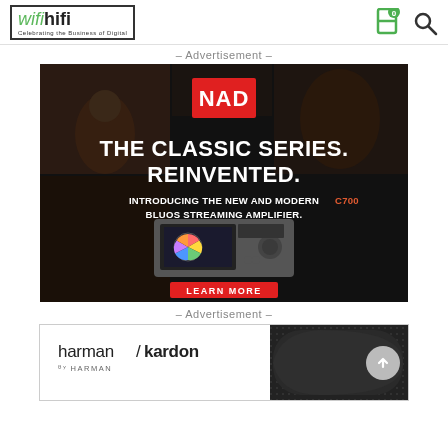wifihifi - Celebrating the Business of Digital
– Advertisement –
[Figure (photo): NAD Classic Series advertisement. Dark background with vintage photos. Text: THE CLASSIC SERIES. REINVENTED. INTRODUCING THE NEW AND MODERN C700 BLUOS STREAMING AMPLIFIER. Learn More button. NAD logo in red square.]
– Advertisement –
[Figure (photo): Harman Kardon advertisement banner showing harman/kardon by HARMAN logo and a speaker product image on dark background.]